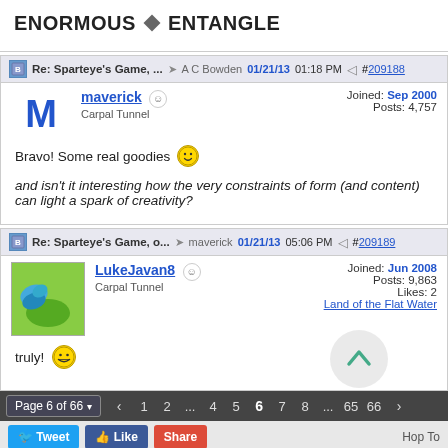ENORMOUS ◆ ENTANGLE
Re: Sparteye's Game, ... → A C Bowden 01/21/13 01:18 PM #209188
maverick
Carpal Tunnel
Joined: Sep 2000
Posts: 4,757
Bravo! Some real goodies
and isn't it interesting how the very constraints of form (and content) can light a spark of creativity?
Re: Sparteye's Game, o... → maverick 01/21/13 05:06 PM #209189
LukeJavan8
Carpal Tunnel
Joined: Jun 2008
Posts: 9,863
Likes: 2
Land of the Flat Water
truly!
Page 6 of 66  < 1 2 ... 4 5 6 7 8 ... 65 66 >